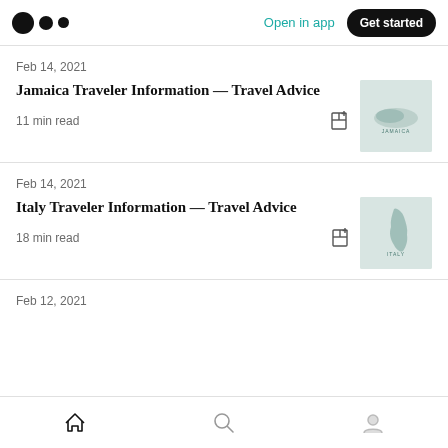Medium — Open in app · Get started
Feb 14, 2021
Jamaica Traveler Information — Travel Advice
11 min read
[Figure (illustration): Map illustration of Jamaica with label 'JAMAICA']
Feb 14, 2021
Italy Traveler Information — Travel Advice
18 min read
[Figure (illustration): Map illustration of Italy with label 'ITALY']
Feb 12, 2021
Home · Search · Profile